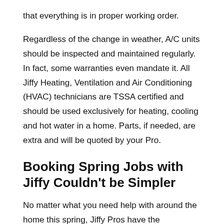that everything is in proper working order.
Regardless of the change in weather, A/C units should be inspected and maintained regularly. In fact, some warranties even mandate it. All Jiffy Heating, Ventilation and Air Conditioning (HVAC) technicians are TSSA certified and should be used exclusively for heating, cooling and hot water in a home. Parts, if needed, are extra and will be quoted by your Pro.
Booking Spring Jobs with Jiffy Couldn't be Simpler
No matter what you need help with around the home this spring, Jiffy Pros have the experience and the